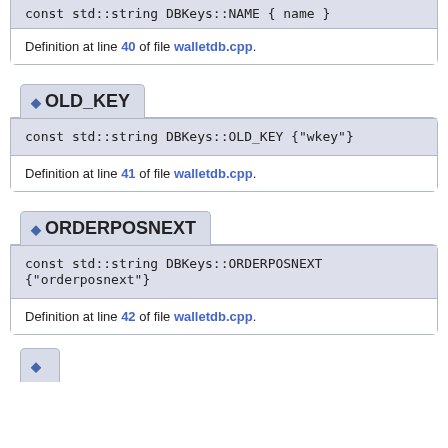const std::string DBKeys::NAME { name }
Definition at line 40 of file walletdb.cpp.
OLD_KEY
const std::string DBKeys::OLD_KEY {"wkey"}
Definition at line 41 of file walletdb.cpp.
ORDERPOSNEXT
const std::string DBKeys::ORDERPOSNEXT {"orderposnext"}
Definition at line 42 of file walletdb.cpp.